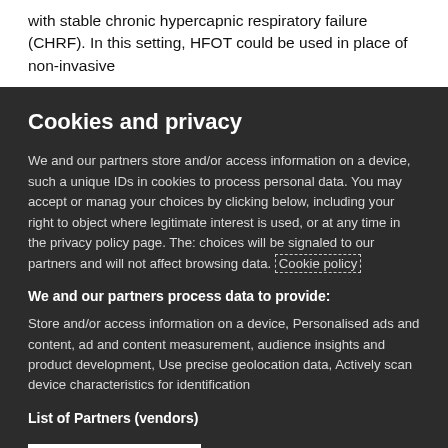with stable chronic hypercapnic respiratory failure (CHRF). In this setting, HFOT could be used in place of non-invasive
Cookies and privacy
We and our partners store and/or access information on a device, such a unique IDs in cookies to process personal data. You may accept or manage your choices by clicking below, including your right to object where legitimate interest is used, or at any time in the privacy policy page. These choices will be signaled to our partners and will not affect browsing data. Cookie policy
We and our partners process data to provide:
Store and/or access information on a device, Personalised ads and content, ad and content measurement, audience insights and product development, Use precise geolocation data, Actively scan device characteristics for identification
List of Partners (vendors)